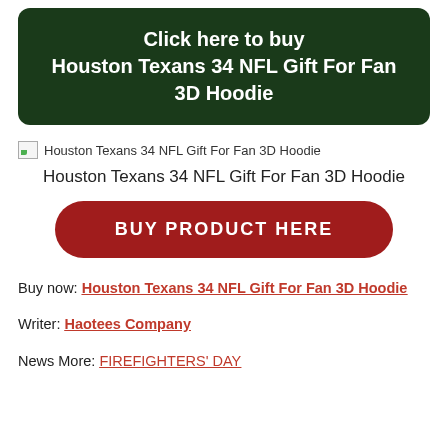Click here to buy Houston Texans 34 NFL Gift For Fan 3D Hoodie
[Figure (other): Broken image placeholder for Houston Texans 34 NFL Gift For Fan 3D Hoodie]
Houston Texans 34 NFL Gift For Fan 3D Hoodie
BUY PRODUCT HERE
Buy now: Houston Texans 34 NFL Gift For Fan 3D Hoodie
Writer: Haotees Company
News More: FIREFIGHTERS' DAY